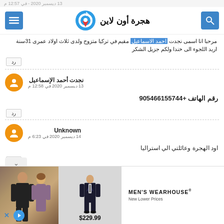13 ديسمبر 2020 - في 12:57 م
هجرة أون لاين
مرحبا انا اسمى نجدت احمد الاسماعيل مقيم في تركيا متزوج ولدى ثلاث اولاد عمرى 31سنة اريد اللجوء الى خندا ولكم جزيل الشكر
رد
نجدت أحمد الإسماعيل
13 ديسمبر 2020 في 12:58 م
رقم الهاتف +905466155744
رد
Unknown
14 ديسمبر 2020 في 6:23 م
اود الهجرة وعائلتي الي استراليا
رد
[Figure (screenshot): Advertisement for Men's Wearhouse showing a suit for $229.99, a man in a dark suit, and a couple dressed formally.]